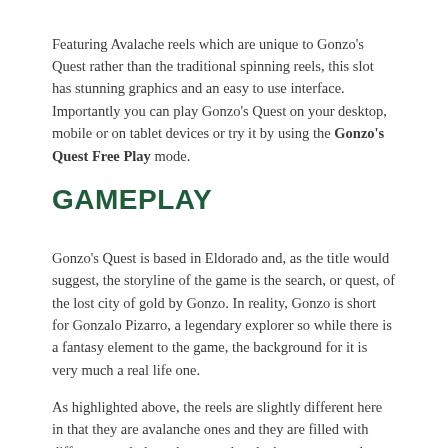Featuring Avalache reels which are unique to Gonzo's Quest rather than the traditional spinning reels, this slot has stunning graphics and an easy to use interface. Importantly you can play Gonzo's Quest on your desktop, mobile or on tablet devices or try it by using the Gonzo's Quest Free Play mode.
GAMEPLAY
Gonzo's Quest is based in Eldorado and, as the title would suggest, the storyline of the game is the search, or quest, of the lost city of gold by Gonzo. In reality, Gonzo is short for Gonzalo Pizarro, a legendary explorer so while there is a fantasy element to the game, the background for it is very much a real life one.
As highlighted above, the reels are slightly different here in that they are avalanche ones and they are filled with different symbols to the normal reels that we are used to. Icons in Gonzo's Quest are a number of animal or mask faces on stone slabs, including things like a snake, alligator, bird and fish. There are also fire, moon and heath symbols with the last named one the most lucrative. A combination of five heaths pays 125 times your initial stake.